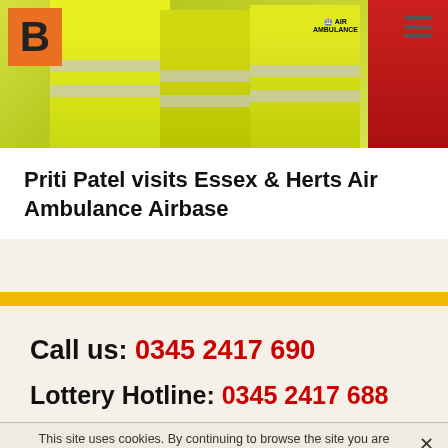[Figure (photo): People in hi-vis yellow vests at the Essex & Herts Air Ambulance Airbase. A person in red is visible on the right. A large orange B logo is on the top left, and a hamburger menu icon on the top right.]
Priti Patel visits Essex & Herts Air Ambulance Airbase
Call us: 0345 2417 690
Lottery Hotline: 0345 2417 688
This site uses cookies. By continuing to browse the site you are agreeing to our use of cookies. Find out how we use cookies.